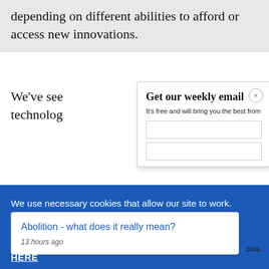depending on different abilities to afford or access new innovations.
We've see[n] technolo[gy]...
Get our weekly email
It's free and will bring you the best from
We use necessary cookies that allow our site to work. We also set optional cookies that help us improve our website. For more information about the types of cookies we use. READ OUR COOKIES POLICY HERE
COOKIE
ALLOW
Abolition - what does it really mean?
13 hours ago
data.
old as